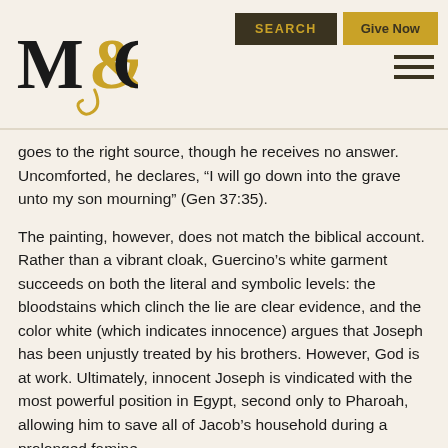M&G logo, SEARCH button, Give Now button, hamburger menu
goes to the right source, though he receives no answer. Uncomforted, he declares, “I will go down into the grave unto my son mourning” (Gen 37:35).
The painting, however, does not match the biblical account. Rather than a vibrant cloak, Guercino’s white garment succeeds on both the literal and symbolic levels: the bloodstains which clinch the lie are clear evidence, and the color white (which indicates innocence) argues that Joseph has been unjustly treated by his brothers. However, God is at work. Ultimately, innocent Joseph is vindicated with the most powerful position in Egypt, second only to Pharoah, allowing him to save all of Jacob’s household during a prolonged famine.
This moving work, illustrating one of the most devasting losses a parent can experience, offers much to contemplate. But as with all proper devotional art, this work points the viewer to the God of all the earth who will do right. Bad things do happen to good people; this world is a vale of sorrows; and character flaws do bear fruit.